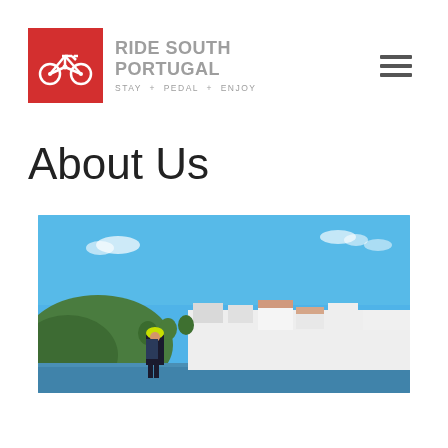[Figure (logo): Ride South Portugal logo: red square with white bicycle icon, next to gray text 'RIDE SOUTH PORTUGAL' and tagline 'STAY + PEDAL + ENJOY']
About Us
[Figure (photo): Outdoor photo showing a cyclist in yellow helmet standing in front of a waterfront town with white buildings and green hills under a bright blue sky with light clouds]